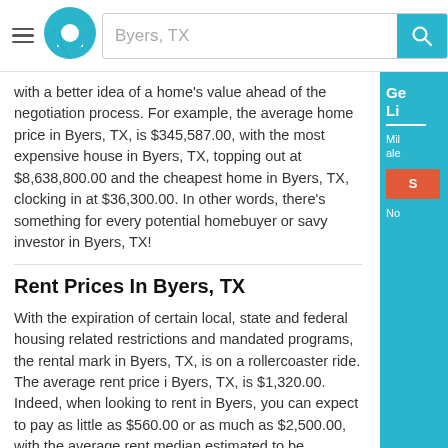Byers, TX
with a better idea of a home's value ahead of the negotiation process. For example, the average home price in Byers, TX, is $345,587.00, with the most expensive house in Byers, TX, topping out at $8,638,800.00 and the cheapest home in Byers, TX, clocking in at $36,300.00. In other words, there's something for every potential homebuyer or savy investor in Byers, TX!
Rent Prices In Byers, TX
With the expiration of certain local, state and federal housing related restrictions and mandated programs, the rental market in Byers, TX, is on a rollercoaster ride. The average rent price in Byers, TX, is $1,320.00. Indeed, when looking to rent in Byers, you can expect to pay as little as $560.00 or as much as $2,500.00, with the average rent median estimated to be $1,250.00. The good news is that finding an affordable and desirable property to rent in Byers, TX -- whether it's apartments, townhomes, condominiums or single-family homes -- is made easier with knowledge of the local market and, of course, a little